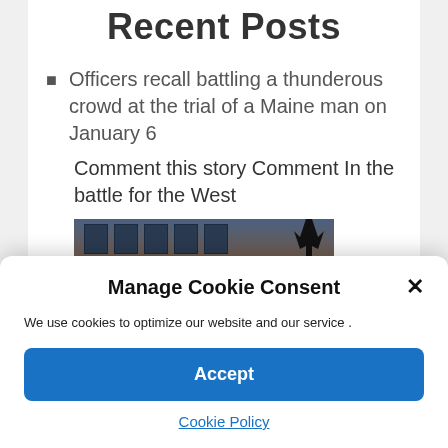Recent Posts
Officers recall battling a thunderous crowd at the trial of a Maine man on January 6
Comment this story Comment In the battle for the West
[Figure (photo): Photograph of a brick courthouse building with an arched entrance and a dark silhouette figure visible at right]
Manage Cookie Consent
We use cookies to optimize our website and our service .
Accept
Cookie Policy